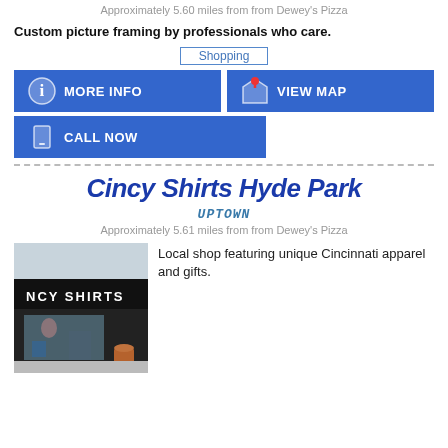Approximately 5.60 miles from from Dewey's Pizza
Custom picture framing by professionals who care.
Shopping
MORE INFO
VIEW MAP
CALL NOW
Cincy Shirts Hyde Park
UPTOWN
Approximately 5.61 miles from from Dewey's Pizza
Local shop featuring unique Cincinnati apparel and gifts.
[Figure (photo): Exterior storefront of Cincy Shirts Hyde Park showing a dark awning with 'NCY SHIRTS' visible and a terracotta pot outside]